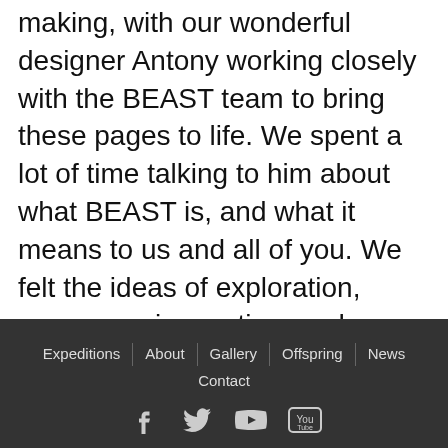making, with our wonderful designer Antony working closely with the BEAST team to bring these pages to life. We spent a lot of time talking to him about what BEAST is, and what it means to us and all of you. We felt the ideas of exploration, openness, innovation, and...
Newer Entries →
Expeditions | About | Gallery | Offspring | News | Contact